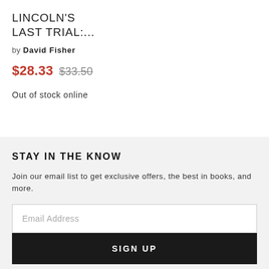LINCOLN'S LAST TRIAL:...
by David Fisher
$28.33 $33.50
Out of stock online
STAY IN THE KNOW
Join our email list to get exclusive offers, the best in books, and more.
Email Address
SIGN UP